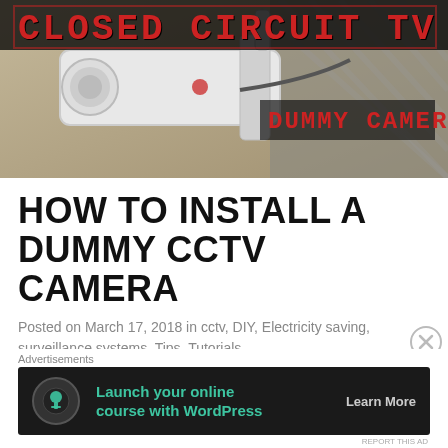[Figure (photo): Photo of a CCTV security camera mounted on a wall/ceiling with text overlay reading 'CLOSED CIRCUIT TV' in red blocky letters and 'DUMMY CAMERA' in red text on dark background]
HOW TO INSTALL A DUMMY CCTV CAMERA
Posted on March 17, 2018 in cctv, DIY, Electricity saving, surveillance systems, Tips, Tutorials
Install a dummy CCTV (Closed Circuit Television) security camera at your home or business by re-purposing or transforming an older / outdated /
Advertisements
[Figure (screenshot): Advertisement banner with dark background showing 'Launch your online course with WordPress' with a tree/person icon and 'Learn More' button]